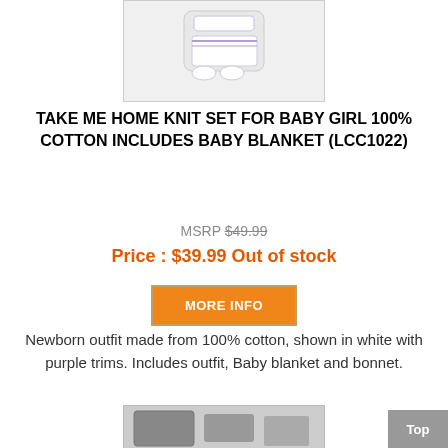[Figure (photo): Baby knit set product photo showing white outfit with purple trims, including blanket, bonnet, and accessories on a white background]
TAKE ME HOME KNIT SET FOR BABY GIRL 100% COTTON INCLUDES BABY BLANKET (LCC1022)
MSRP $49.99
Price : $39.99 Out of stock
MORE INFO
Newborn outfit made from 100% cotton, shown in white with purple trims. Includes outfit, Baby blanket and bonnet.
[Figure (photo): Second product photo partially visible at bottom of page showing baby items]
Top